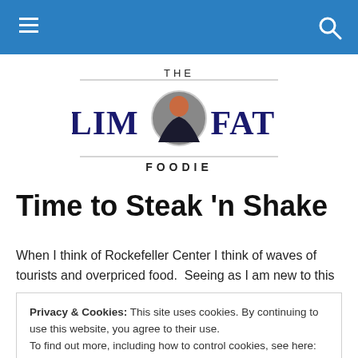Navigation bar with hamburger menu and search icon
[Figure (logo): The Slim & Fat Foodie logo with text 'THE SLIM FAT FOODIE' and a circular image of a person in the center]
Time to Steak 'n Shake
When I think of Rockefeller Center I think of waves of tourists and overpriced food. Seeing as I am new to this
priced, good tasting, not a tourist sand hole) I bet I can
Privacy & Cookies: This site uses cookies. By continuing to use this website, you agree to their use.
To find out more, including how to control cookies, see here: Cookie Policy